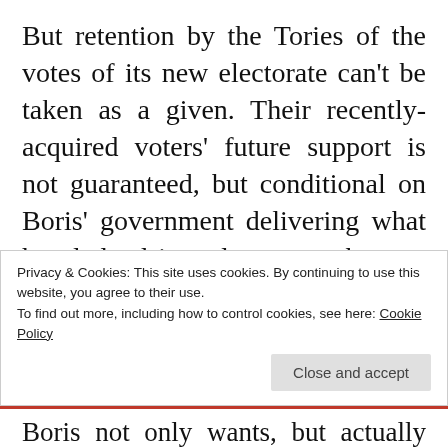But retention by the Tories of the votes of its new electorate can't be taken as a given. Their recently-acquired voters' future support is not guaranteed, but conditional on Boris' government delivering what he pledged in order to get them to cast their votes for the Tories, many after breaking the habit of a lifetime. To be fair, Boris did himself acknowledge this in his victory speech, when he thanked first-time Tory voters for lending him their votes, vowed never to take them for granted
Privacy & Cookies: This site uses cookies. By continuing to use this website, you agree to their use. To find out more, including how to control cookies, see here: Cookie Policy
Close and accept
Boris not only wants, but actually needs, to retain